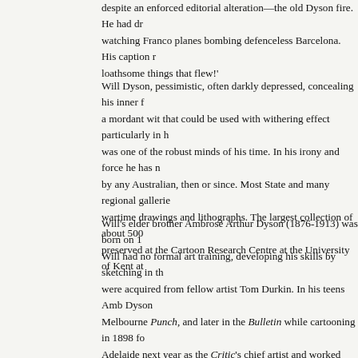despite an enforced editorial alteration—the old Dyson fire. He had dr watching Franco planes bombing defenceless Barcelona. His caption r loathsome things that flew!'
Will Dyson, pessimistic, often darkly depressed, concealing his inner a mordant wit that could be used with withering effect particularly in was one of the robust minds of his time. In his irony and force he has by any Australian, then or since. Most State and many regional galleri wartime drawings and lithographs. The largest collection of about 500 preserved at the Cartoon Research Centre at the University of Kent at
Will's elder brother Ambrose Arthur Dyson (1876-1913) was born on Will had no formal art training, developing his skills by sketching in t were acquired from fellow artist Tom Durkin. In his teens Amb Dyso Melbourne Punch, and later in the Bulletin while cartooning in 1898 f Adelaide next year as the Critic's chief artist and worked there until 1 to accept a staff position with the Bulletin, producing a full page of ca politics. Between 1906 and 1909 with Will and Ruby Lindsay, Ambro Gadfly (Adelaide). Other work by him appeared in Table Talk, the Cl drawings are of important documentary interest in portraying the first larrikin.